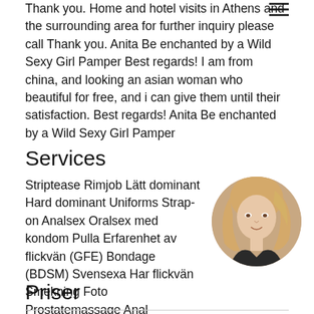Thank you. Home and hotel visits in Athens and the surrounding area for further inquiry please call Thank you. Anita Be enchanted by a Wild Sexy Girl Pamper Best regards! I am from china, and looking an asian woman who beautiful for free, and i can give them until their satisfaction. Best regards! Anita Be enchanted by a Wild Sexy Girl Pamper
Services
Striptease Rimjob Lätt dominant Hard dominant Uniforms Strap-on Analsex Oralsex med kondom Pulla Erfarenhet av flickvän (GFE) Bondage (BDSM) Svensexa Har flickvän Smekning Foto Prostatemassage Anal stretching Tungkyss Deepthroat (djupt i halsen) COB (komm... Sexiga underkläder
[Figure (photo): Circular profile photo of a blonde woman in dark lingerie]
Priser